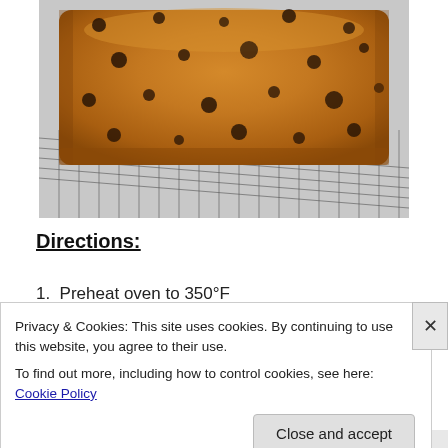[Figure (photo): A golden-brown loaf cake or fruit bread with dark spots (raisins or blueberries) sitting on a wire cooling rack. The loaf has a rectangular shape with a slightly domed top.]
Directions:
1.  Preheat oven to 350°F
Privacy & Cookies: This site uses cookies. By continuing to use this website, you agree to their use.
To find out more, including how to control cookies, see here: Cookie Policy
Close and accept